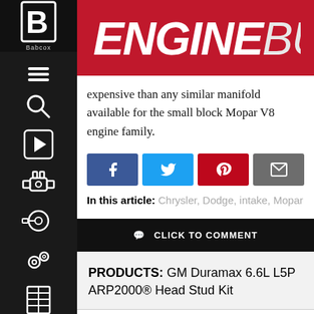[Figure (logo): Engine Builder magazine logo with Babcox branding on red header bar]
expensive than any similar manifold available for the small block Mopar V8 engine family.
[Figure (infographic): Social share buttons: Facebook, Twitter, Pinterest, Email]
In this article: Chrysler, Dodge, intake, Mopar
CLICK TO COMMENT
PRODUCTS: GM Duramax 6.6L L5P ARP2000® Head Stud Kit